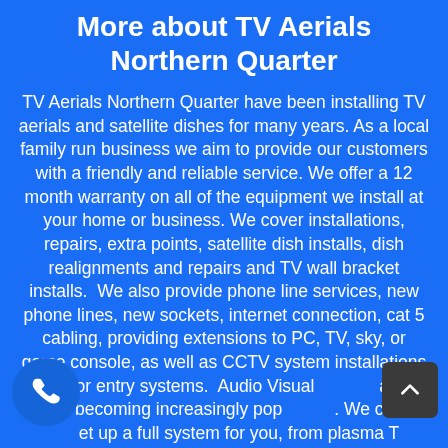More about TV Aerials Northern Quarter
TV Aerials Northern Quarter have been installing TV aerials and satellite dishes for many years. As a local family run business we aim to provide our customers with a friendly and reliable service. We offer a 12 month warranty on all of the equipment we install at your home or business. We cover installations, repairs, extra points, satellite dish installs, dish realignments and repairs and TV wall bracket installs.  We also provide phone line services, new phone lines, new sockets, internet connection, cat 5 cabling, providing extensions to PC, TV, sky, or game console, as well as CCTV system installations and door entry systems.  Audio Visual installations are becoming increasingly popular. We can set up a full system for you, from plasma TV or projectors with full surround sound to connecting your